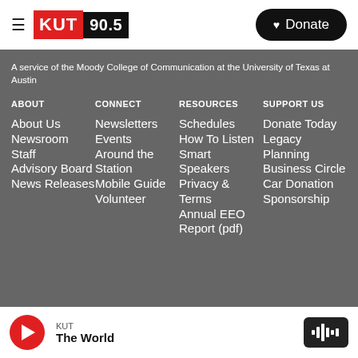[Figure (logo): KUT 90.5 radio station logo — red KUT block and black 90.5 block]
Donate
A service of the Moody College of Communication at the University of Texas at Austin
ABOUT
About Us
Newsroom
Staff
Advisory Board
News Releases
CONNECT
Newsletters
Events
Around the Station
Mobile Guide
Volunteer
RESOURCES
Schedules
How To Listen
Smart Speakers
Privacy & Terms
Annual EEO Report (pdf)
SUPPORT US
Donate Today
Legacy Planning
Business Circle
Car Donation
Sponsorship
KUT
The World